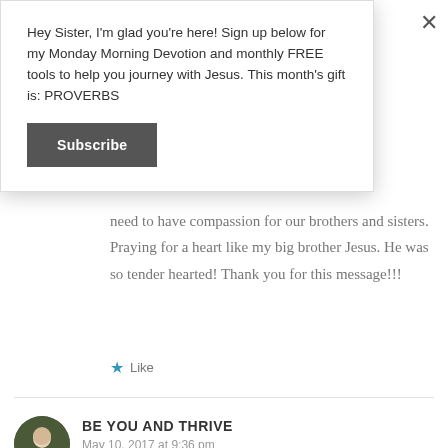Hey Sister, I'm glad you're here! Sign up below for my Monday Morning Devotion and monthly FREE tools to help you journey with Jesus. This month's gift is: PROVERBS
Subscribe
need to have compassion for our brothers and sisters. Praying for a heart like my big brother Jesus. He was so tender hearted! Thank you for this message!!!
★ Like
BE YOU AND THRIVE
May 10, 2017 at 9:36 pm